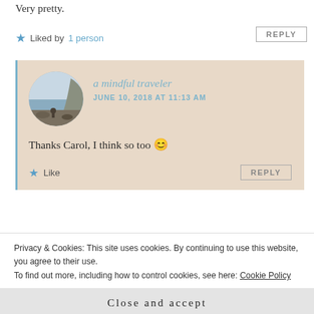Very pretty.
★ Liked by 1 person
REPLY
a mindful traveler
JUNE 10, 2018 AT 11:13 AM
Thanks Carol, I think so too 😊
★ Like
REPLY
Privacy & Cookies: This site uses cookies. By continuing to use this website, you agree to their use.
To find out more, including how to control cookies, see here: Cookie Policy
Close and accept
villages are the best way to truly enjoy them. Gorgeous pics as well.